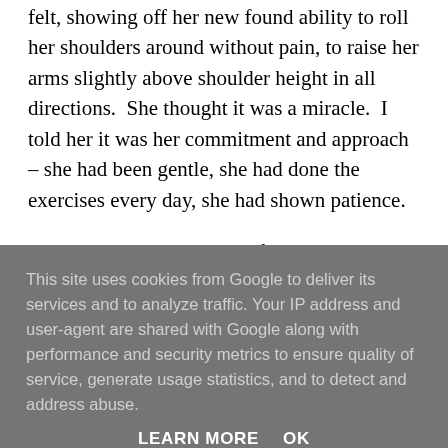felt, showing off her new found ability to roll her shoulders around without pain, to raise her arms slightly above shoulder height in all directions.  She thought it was a miracle.  I told her it was her commitment and approach – she had been gentle, she had done the exercises every day, she had shown patience.
There are many blessings of being a yoga teacher, but this is one of the best ones.  Watching somebody's body
This site uses cookies from Google to deliver its services and to analyze traffic. Your IP address and user-agent are shared with Google along with performance and security metrics to ensure quality of service, generate usage statistics, and to detect and address abuse.
LEARN MORE    OK